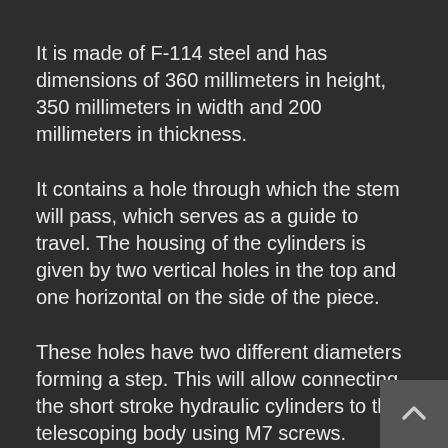It is made of F-114 steel and has dimensions of 360 millimeters in height, 350 millimeters in width and 200 millimeters in thickness.
It contains a hole through which the stem will pass, which serves as a guide to travel. The housing of the cylinders is given by two vertical holes in the top and one horizontal on the side of the piece.
These holes have two different diameters forming a step. This will allow connecting the short stroke hydraulic cylinders to the telescoping body using M7 screws.
This piece has some friction sheets that will allow it to easily slide between the sections